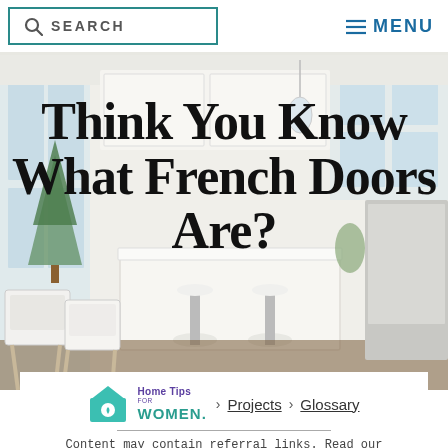SEARCH   MENU
[Figure (photo): Bright white modern kitchen interior with large windows, white cabinetry, marble island, and chrome bar stools on dark hardwood floors]
Think You Know What French Doors Are?
Home Tips FOR WOMEN. > Projects > Glossary
Content may contain referral links. Read our disclosure policy for more information.